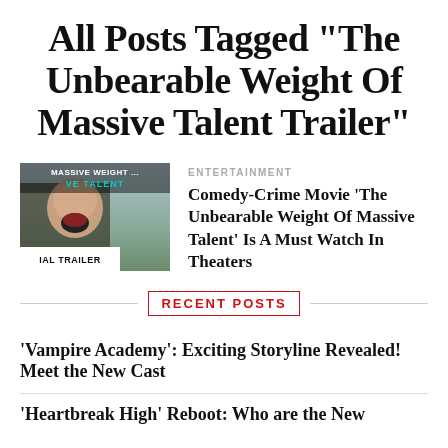All Posts Tagged "The Unbearable Weight Of Massive Talent Trailer"
[Figure (photo): Movie thumbnail showing a man shouting with text overlay 'MASSIVE WEIGHT... VE TALENT' and 'IAL TRAILER' banner at bottom]
ENTERTAINMENT
Comedy-Crime Movie 'The Unbearable Weight Of Massive Talent' Is A Must Watch In Theaters
RECENT POSTS
'Vampire Academy': Exciting Storyline Revealed! Meet the New Cast
'Heartbreak High' Reboot: Who are the New